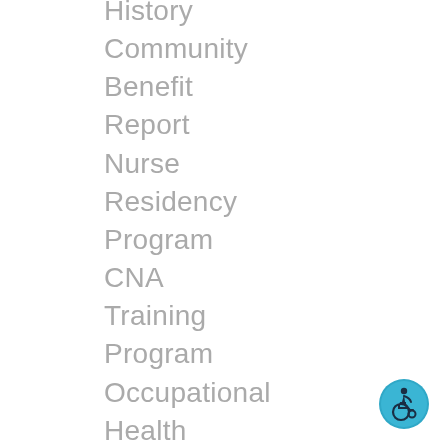History
Community
Benefit
Report
Nurse
Residency
Program
CNA
Training
Program
Occupational
Health
For
Physicians
For
Employees
[Figure (illustration): Accessibility icon: circular teal/blue icon with a wheelchair user symbol in dark blue/black]